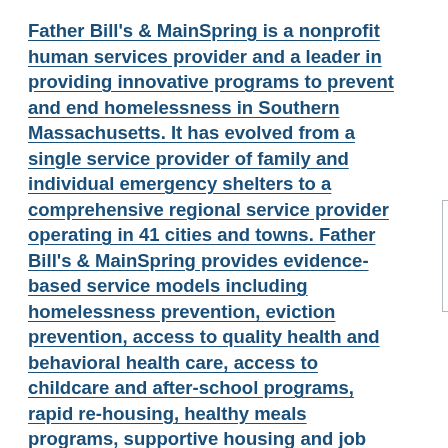Father Bill's & MainSpring is a nonprofit human services provider and a leader in providing innovative programs to prevent and end homelessness in Southern Massachusetts. It has evolved from a single service provider of family and individual emergency shelters to a comprehensive regional service provider operating in 41 cities and towns. Father Bill's & MainSpring provides evidence-based service models including homelessness prevention, eviction prevention, access to quality health and behavioral health care, access to childcare and after-school programs, rapid re-housing, healthy meals programs, supportive housing and job training programs.